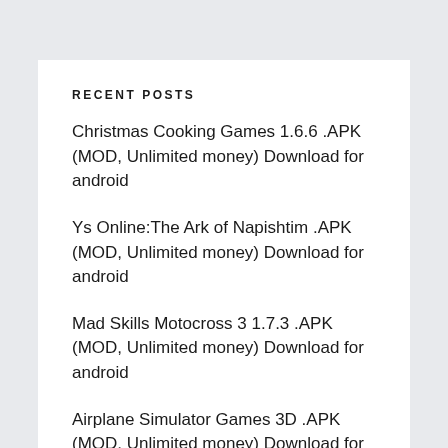RECENT POSTS
Christmas Cooking Games 1.6.6 .APK (MOD, Unlimited money) Download for android
Ys Online:The Ark of Napishtim .APK (MOD, Unlimited money) Download for android
Mad Skills Motocross 3 1.7.3 .APK (MOD, Unlimited money) Download for android
Airplane Simulator Games 3D .APK (MOD, Unlimited money) Download for android